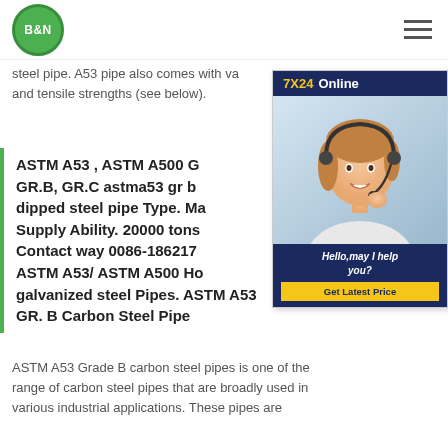[Figure (logo): B&N green circular logo]
steel pipe. A53 pipe also comes with various yield and tensile strengths (see below).
[Figure (infographic): 7X24 Online chat widget with customer service representative photo and 'Hello, may I help you?' message and 'Get Latest Price' button]
ASTM A53 , ASTM A500 GR.B, GR.C astma53 gr b dipped steel pipe Type. Ma Supply Ability. 20000 tons Contact way 0086-186217 ASTM A53/ ASTM A500 Ho galvanized steel Pipes. ASTM A53 GR. B Carbon Steel Pipe
ASTM A53 Grade B carbon steel pipes is one of the range of carbon steel pipes that are broadly used in various industrial applications. These pipes are